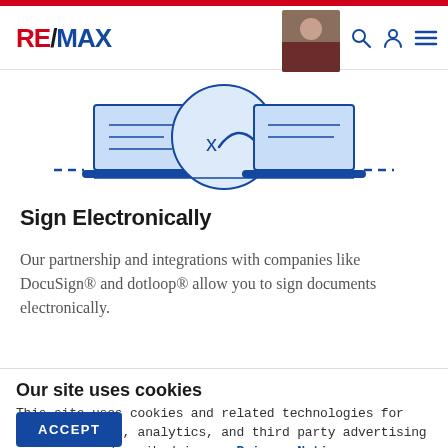RE/MAX
[Figure (illustration): Blue line illustration of a laptop with a signature/document on screen, with decorative elements suggesting electronic signing]
Sign Electronically
Our partnership and integrations with companies like DocuSign® and dotloop® allow you to sign documents electronically.
Our site uses cookies
This site uses cookies and related technologies for site operation, analytics, and third party advertising purposes as described in our Privacy Notice .
ACCEPT